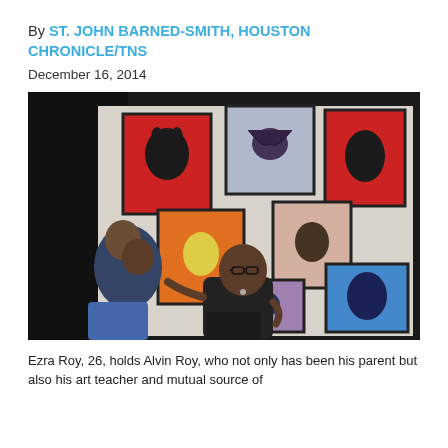By ST. JOHN BARNED-SMITH, HOUSTON CHRONICLE/TNS
December 16, 2014
[Figure (photo): Two men sitting together in front of a white wall displaying seven framed artworks featuring African mask-like figures in various colors (red, orange, blue, purple). One man, Ezra Roy, 26, holds the other man, Alvin Roy, leaning together. The artworks include bold graphic prints of masks in red, orange, blue, and purple tones.]
Ezra Roy, 26, holds Alvin Roy, who not only has been his parent but also his art teacher and mutual source of